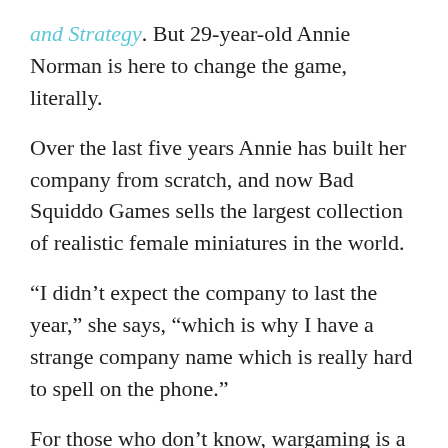and Strategy. But 29-year-old Annie Norman is here to change the game, literally.
Over the last five years Annie has built her company from scratch, and now Bad Squiddo Games sells the largest collection of realistic female miniatures in the world.
“I didn’t expect the company to last the year,” she says, “which is why I have a strange company name which is really hard to spell on the phone.”
For those who don’t know, wargaming is a tabletop strategy game where you play through battles using model soldiers, or miniatures. There are two